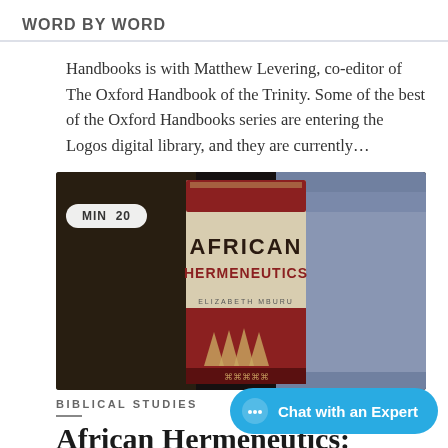WORD BY WORD
Handbooks is with Matthew Levering, co-editor of The Oxford Handbook of the Trinity. Some of the best of the Oxford Handbooks series are entering the Logos digital library, and they are currently...
[Figure (photo): Photo of a book titled 'African Hermeneutics' by Elizabeth Mburu, with a red and cream cover featuring geometric patterns, resting against a blurred dark and blue background. A badge reading 'MIN 20' overlays the top-left of the image.]
BIBLICAL STUDIES
African Hermeneutics: